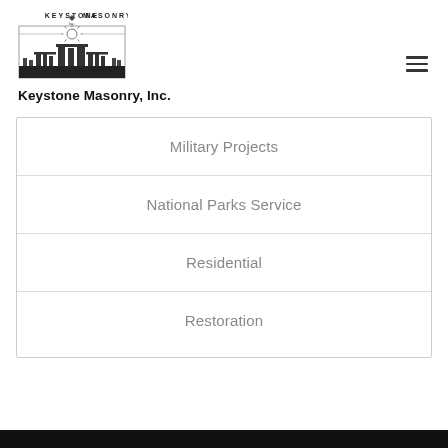[Figure (logo): Keystone Masonry Inc. logo with stonehenge silhouette and sun rays illustration]
Keystone Masonry, Inc.
Military Projects
National Parks Service
Residential
Restoration